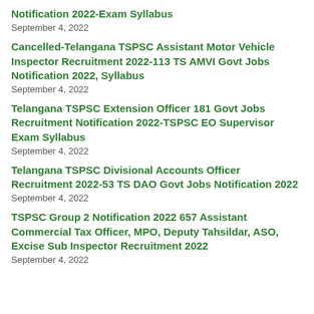Notification 2022-Exam Syllabus
September 4, 2022
Cancelled-Telangana TSPSC Assistant Motor Vehicle Inspector Recruitment 2022-113 TS AMVI Govt Jobs Notification 2022, Syllabus
September 4, 2022
Telangana TSPSC Extension Officer 181 Govt Jobs Recruitment Notification 2022-TSPSC EO Supervisor Exam Syllabus
September 4, 2022
Telangana TSPSC Divisional Accounts Officer Recruitment 2022-53 TS DAO Govt Jobs Notification 2022
September 4, 2022
TSPSC Group 2 Notification 2022 657 Assistant Commercial Tax Officer, MPO, Deputy Tahsildar, ASO, Excise Sub Inspector Recruitment 2022
September 4, 2022